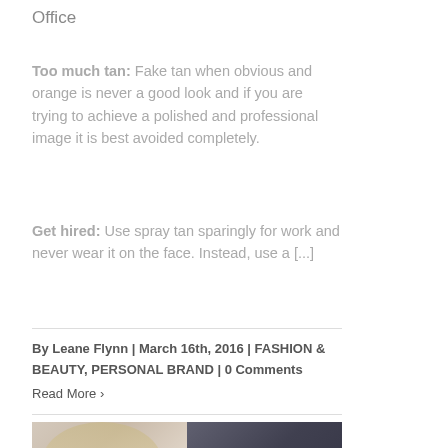Office
Too much tan:   Fake tan when obvious and orange is never a good look and if you are trying to achieve a polished and professional image it is best avoided completely.
Get hired: Use spray tan sparingly for work and never wear it on the face. Instead, use a [...]
By Leane Flynn | March 16th, 2016 | FASHION & BEAUTY, PERSONAL BRAND | 0 Comments
Read More ›
[Figure (photo): A blonde woman resting her head on her hands, with a dark-clothed figure in the background]